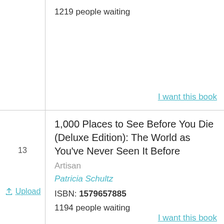1219 people waiting
I want this book
1,000 Places to See Before You Die (Deluxe Edition): The World as You've Never Seen It Before
Artisan
Patricia Schultz
Upload
ISBN: 1579657885
1194 people waiting
I want this book
Etiquette: The Least You